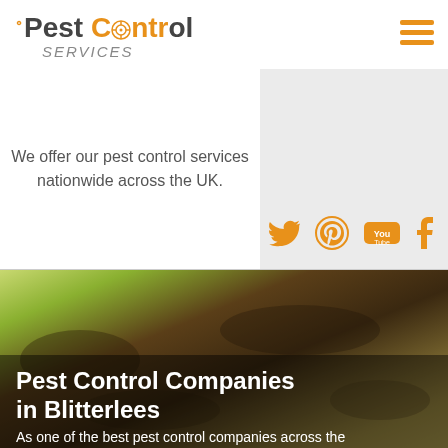Pest Control SERVICES
We offer our pest control services nationwide across the UK.
[Figure (illustration): Social media icons: Twitter, Pinterest, YouTube, Tumblr in orange]
[Figure (photo): Background photo of soil/dirt with pest control context]
Pest Control Companies in Blitterlees
As one of the best pest control companies across the